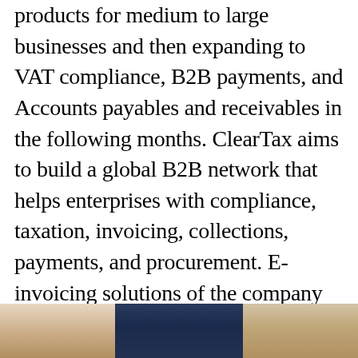products for medium to large businesses and then expanding to VAT compliance, B2B payments, and Accounts payables and receivables in the following months. ClearTax aims to build a global B2B network that helps enterprises with compliance, taxation, invoicing, collections, payments, and procurement. E-invoicing solutions of the company are compliant with the Zakat, Tax and Customs Authority (ZATCA) guidelines in the Kingdom of Saudi Arabia. The platform is available in both Arabic and English with cloud servers hosted within the country.
[Figure (photo): Partial photo of people at the bottom of the page, showing a person in a blue suit and another individual, with a beige/tan background.]